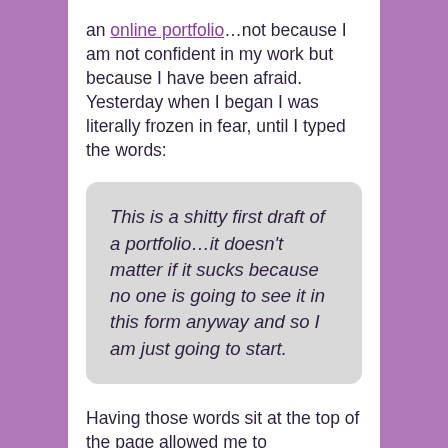an online portfolio…not because I am not confident in my work but because I have been afraid. Yesterday when I began I was literally frozen in fear, until I typed the words:
This is a shitty first draft of a portfolio…it doesn't matter if it sucks because no one is going to see it in this form anyway and so I am just going to start.
Having those words sit at the top of the page allowed me to acknowledge my fear but move any way. Fear is a very human emotion and I think it is something that we learn…to avoid mistakes, and from there it is easy to convince ourselves to stay small to